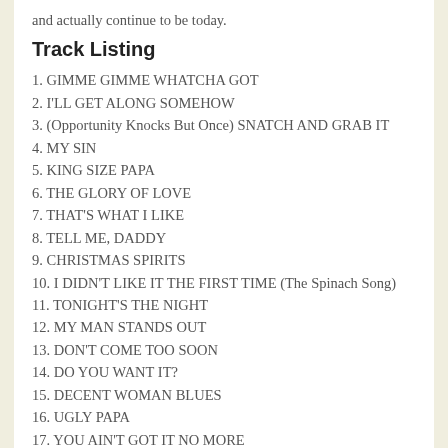and actually continue to be today.
Track Listing
1. GIMME GIMME WHATCHA GOT
2. I'LL GET ALONG SOMEHOW
3. (Opportunity Knocks But Once) SNATCH AND GRAB IT
4. MY SIN
5. KING SIZE PAPA
6. THE GLORY OF LOVE
7. THAT'S WHAT I LIKE
8. TELL ME, DADDY
9. CHRISTMAS SPIRITS
10. I DIDN'T LIKE IT THE FIRST TIME (The Spinach Song)
11. TONIGHT'S THE NIGHT
12. MY MAN STANDS OUT
13. DON'T COME TOO SOON
14. DO YOU WANT IT?
15. DECENT WOMAN BLUES
16. UGLY PAPA
17. YOU AIN'T GOT IT NO MORE
18. [partially visible]